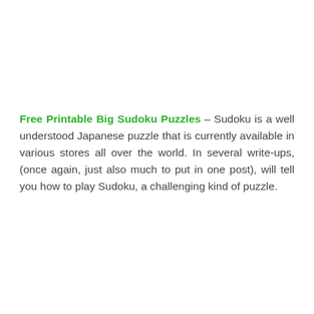Free Printable Big Sudoku Puzzles – Sudoku is a well understood Japanese puzzle that is currently available in various stores all over the world. In several write-ups, (once again, just also much to put in one post), will tell you how to play Sudoku, a challenging kind of puzzle.